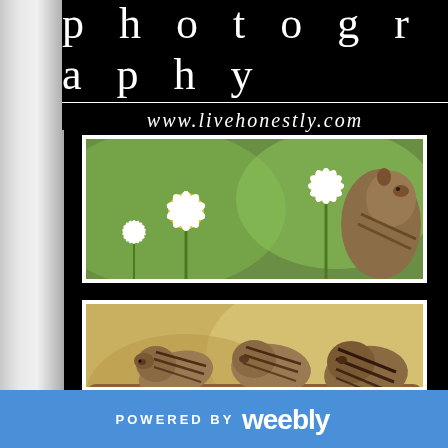photography
www.livehonestly.com
[Figure (photo): Chipmunk smelling white daisy flowers in a green meadow]
[Figure (photo): Three chipmunks on a log, striped, interacting with each other]
[Figure (photo): Partially visible photo of an animal in green grass]
POWERED BY weebly